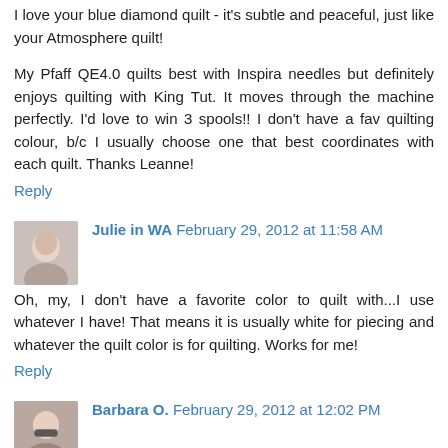I love your blue diamond quilt - it's subtle and peaceful, just like your Atmosphere quilt!
My Pfaff QE4.0 quilts best with Inspira needles but definitely enjoys quilting with King Tut. It moves through the machine perfectly. I'd love to win 3 spools!! I don't have a fav quilting colour, b/c I usually choose one that best coordinates with each quilt. Thanks Leanne!
Reply
Julie in WA  February 29, 2012 at 11:58 AM
Oh, my, I don't have a favorite color to quilt with...I use whatever I have! That means it is usually white for piecing and whatever the quilt color is for quilting. Works for me!
Reply
Barbara O.  February 29, 2012 at 12:02 PM
What a beautiful quilt!
I chose white for piecing and use for quilting whatever